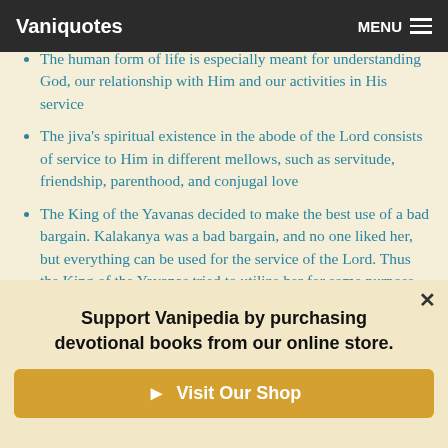Vaniquotes | MENU
The human form of life is especially meant for understanding God, our relationship with Him and our activities in His service
The jiva's spiritual existence in the abode of the Lord consists of service to Him in different mellows, such as servitude, friendship, parenthood, and conjugal love
The King of the Yavanas decided to make the best use of a bad bargain. Kalakanya was a bad bargain, and no one liked her, but everything can be used for the service of the Lord. Thus the King of the Yavanas tried to utilize her for some purpose
Support Vanipedia by purchasing devotional books from our online store.
▶ Visit Our Shop